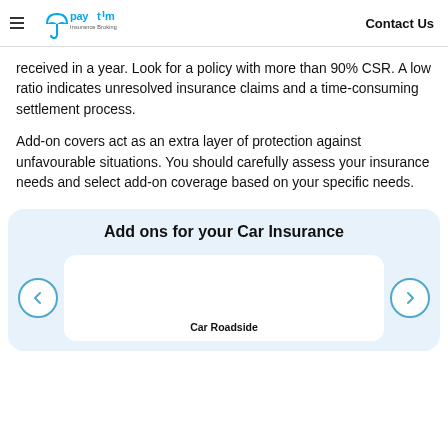Paytm Insurance Broking | Contact Us
received in a year. Look for a policy with more than 90% CSR. A low ratio indicates unresolved insurance claims and a time-consuming settlement process.
Add-on covers act as an extra layer of protection against unfavourable situations. You should carefully assess your insurance needs and select add-on coverage based on your specific needs.
Add ons for your Car Insurance
[Figure (infographic): Card carousel showing 'Add ons for your Car Insurance' with left and right navigation arrows and a card labeled 'Car Roadside']